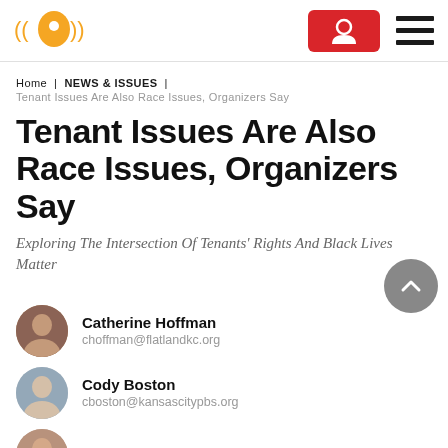Flatland KC logo | Donate button | Menu
Home | NEWS & ISSUES | Tenant Issues Are Also Race Issues, Organizers Say
Tenant Issues Are Also Race Issues, Organizers Say
Exploring The Intersection Of Tenants' Rights And Black Lives Matter
Catherine Hoffman
choffman@flatlandkc.org
Cody Boston
cboston@kansascitypbs.org
Mich... Rios Gonzal...